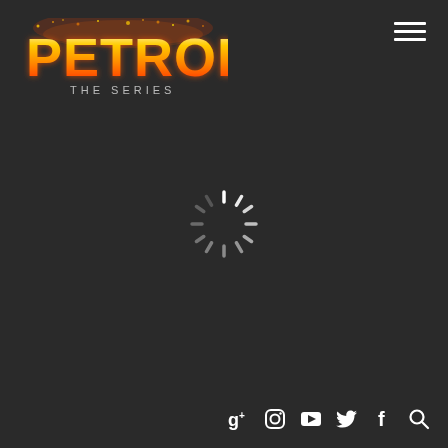[Figure (logo): PETROL THE SERIES logo with fire/flame effect text on dark background]
[Figure (other): Hamburger menu icon (three horizontal white lines) in top right corner]
[Figure (other): Loading spinner (circular dashed loading indicator) centered on page]
[Figure (other): Social media icons row at bottom right: Google+, Instagram, YouTube, Twitter, Facebook, Search]